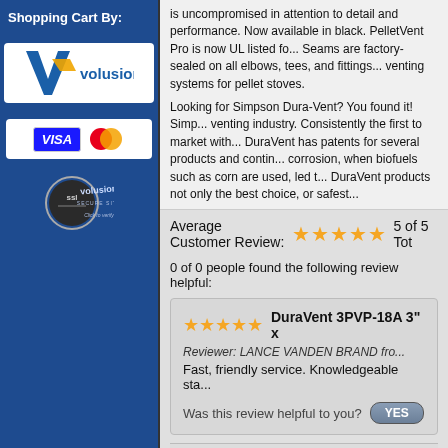Shopping Cart By:
[Figure (logo): Volusion shopping cart logo - white background with blue and gold checkmark V and 'volusion' text]
[Figure (logo): Payment icons: VISA and Mastercard logos side by side]
[Figure (logo): SSL Secure Site - Volusion SSL badge with circular SSL logo and 'Click to Verify' text]
is uncompromised in attention to detail and performance. Now available in black. PelletVent Pro is now UL listed for... Seams are factory-sealed on all elbows, tees, and fittings... venting systems for pellet stoves.
Looking for Simpson Dura-Vent? You found it! Simpson... venting industry. Consistently the first to market with... DuraVent has patents for several products and continues... corrosion, when biofuels such as corn are used, led to... DuraVent products not only the best choice, or safest...
Average Customer Review: ★★★★★ 5 of 5   Tot
0 of 0 people found the following review helpful:
★★★★★ DuraVent 3PVP-18A 3" x
Reviewer: LANCE VANDEN BRAND fro...
Fast, friendly service. Knowledgeable sta...
Was this review helpful to you? YES
Browse for more products in the same category as t
VENTING PIPE > PELLET STOVE PIPING
DURAVENT > DURAVENT PELLET STOVE PIPE
VENTING PIPE > PELLET STOVE PIPING > PELL
DURAVENT > DURAVENT PELLET STOVE PIPE...